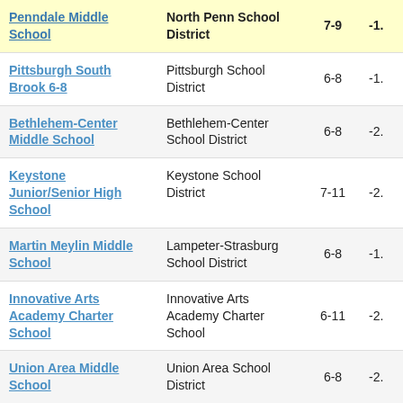| School | District | Grades | Score |
| --- | --- | --- | --- |
| Penndale Middle School | North Penn School District | 7-9 | -1. |
| Pittsburgh South Brook 6-8 | Pittsburgh School District | 6-8 | -1. |
| Bethlehem-Center Middle School | Bethlehem-Center School District | 6-8 | -2. |
| Keystone Junior/Senior High School | Keystone School District | 7-11 | -2. |
| Martin Meylin Middle School | Lampeter-Strasburg School District | 6-8 | -1. |
| Innovative Arts Academy Charter School | Innovative Arts Academy Charter School | 6-11 | -2. |
| Union Area Middle School | Union Area School District | 6-8 | -2. |